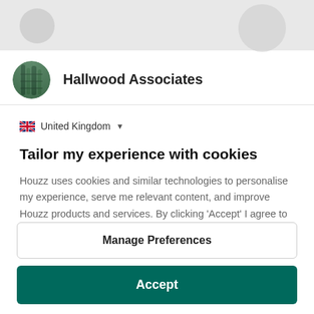[Figure (screenshot): Top banner area with grey background showing partial profile elements]
Hallwood Associates
United Kingdom
Tailor my experience with cookies
Houzz uses cookies and similar technologies to personalise my experience, serve me relevant content, and improve Houzz products and services. By clicking 'Accept' I agree to this, as further described in the Houzz Cookie Policy. I can reject non-
Manage Preferences
Accept